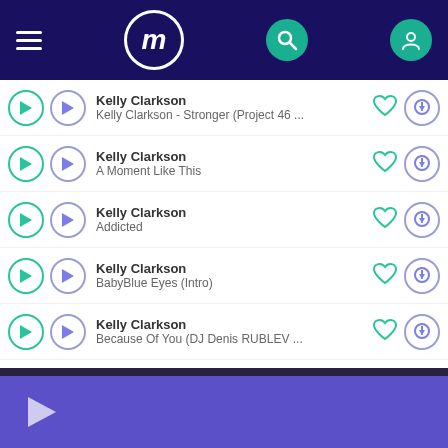[Figure (screenshot): Mobile music app header with hamburger menu, logo M in circle, search icon, and user profile icon on dark navy background]
Kelly Clarkson - Stronger (Project 46 ...
Kelly Clarkson - A Moment Like This
Kelly Clarkson - Addicted
Kelly Clarkson - BabyBlue Eyes (Intro)
Kelly Clarkson - Because Of You (DJ Denis RUBLEV ...
[Figure (screenshot): Purple player bar at bottom with play button]